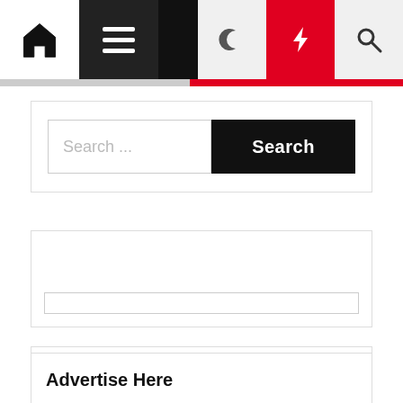Navigation bar with home, menu, dark mode, lightning/featured, and search icons
[Figure (screenshot): Search widget with text input placeholder 'Search ...' and black Search button]
[Figure (screenshot): Empty widget box with an inner input bar at the bottom]
Advertise Here
Disclosure Policy
Contact Us
Sitemap